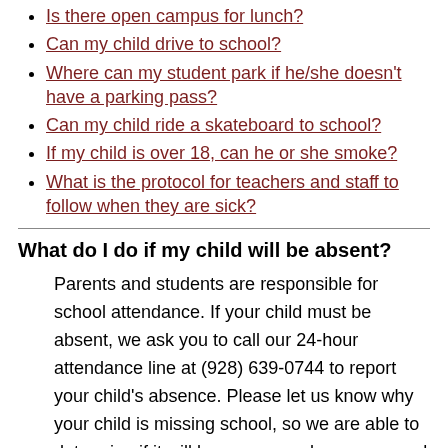Is there open campus for lunch?
Can my child drive to school?
Where can my student park if he/she doesn't have a parking pass?
Can my child ride a skateboard to school?
If my child is over 18, can he or she smoke?
What is the protocol for teachers and staff to follow when they are sick?
What do I do if my child will be absent?
Parents and students are responsible for school attendance. If your child must be absent, we ask you to call our 24-hour attendance line at (928) 639-0744 to report your child's absence. Please let us know why your child is missing school, so we are able to determine if it will be an excused or unexcused